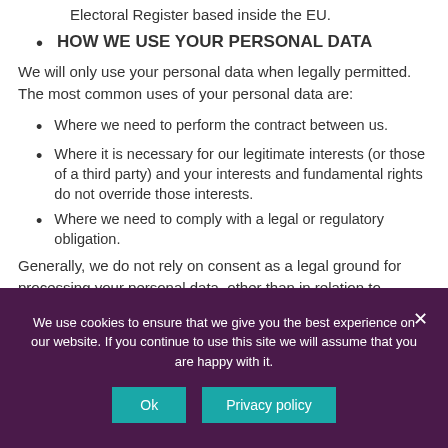Electoral Register based inside the EU.
HOW WE USE YOUR PERSONAL DATA
We will only use your personal data when legally permitted. The most common uses of your personal data are:
Where we need to perform the contract between us.
Where it is necessary for our legitimate interests (or those of a third party) and your interests and fundamental rights do not override those interests.
Where we need to comply with a legal or regulatory obligation.
Generally, we do not rely on consent as a legal ground for processing your personal data, other than in relation to
We use cookies to ensure that we give you the best experience on our website. If you continue to use this site we will assume that you are happy with it.